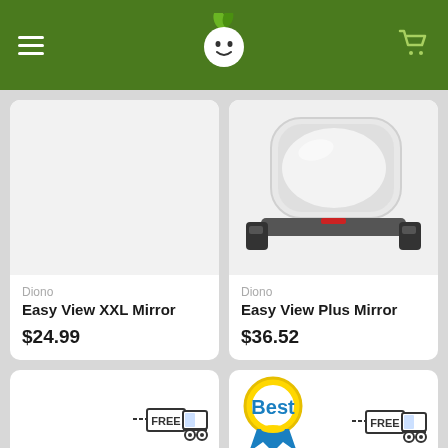[Figure (screenshot): Green navigation bar with hamburger menu icon on left, baby face logo in center, shopping cart icon on right]
[Figure (photo): Diono Easy View XXL Mirror product image (blank/missing image area)]
Diono
Easy View XXL Mirror
$24.99
[Figure (photo): Diono Easy View Plus Mirror product photo showing white rounded mirror with black mounting bracket]
Diono
Easy View Plus Mirror
$36.52
[Figure (illustration): Free shipping truck icon badge in bottom left card]
[Figure (illustration): Best seller ribbon badge and free shipping truck icon in bottom right card]